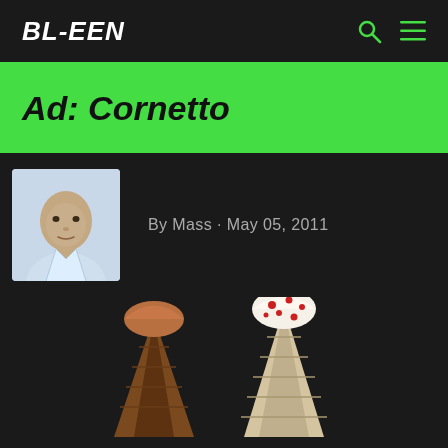BL-EEN
Ad: Cornetto
By Mass · May 05, 2011
[Figure (photo): Portrait photo of a bald man in a light blue shirt, appears to be the author Mass]
[Figure (photo): Cornetto ice cream cones partially visible at the bottom of the page]